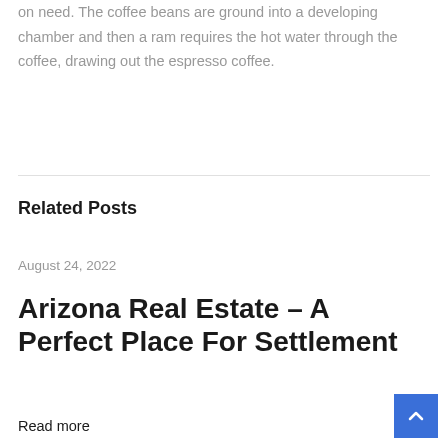on need. The coffee beans are ground into a developing chamber and then a ram requires the hot water through the coffee, drawing out the espresso coffee.
Related Posts
August 24, 2022
Arizona Real Estate – A Perfect Place For Settlement
Read more